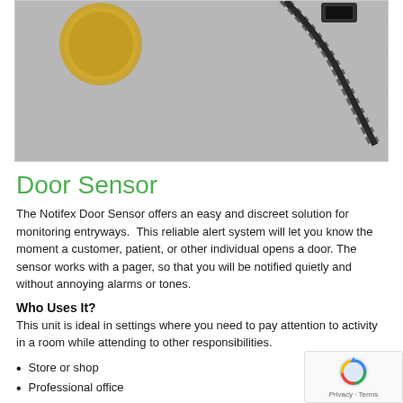[Figure (photo): Photo of a small door sensor device next to a coin for size reference, and a twisted black wire/cable, on a gray fabric background.]
Door Sensor
The Notifex Door Sensor offers an easy and discreet solution for monitoring entryways.  This reliable alert system will let you know the moment a customer, patient, or other individual opens a door. The sensor works with a pager, so that you will be notified quietly and without annoying alarms or tones.
Who Uses It?
This unit is ideal in settings where you need to pay attention to activity in a room while attending to other responsibilities.
Store or shop
Professional office
Patients or family members at risk to wander